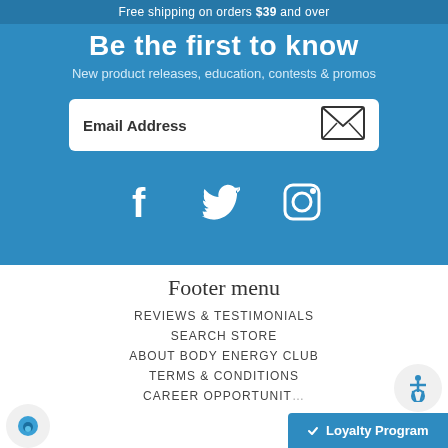Free shipping on orders $39 and over
Be the first to know
New product releases, education, contests & promos
Email Address
[Figure (illustration): Social media icons: Facebook, Twitter, Instagram in white on blue background]
Footer menu
REVIEWS & TESTIMONIALS
SEARCH STORE
ABOUT BODY ENERGY CLUB
TERMS & CONDITIONS
CAREER OPPORTUNIT...
Loyalty Program